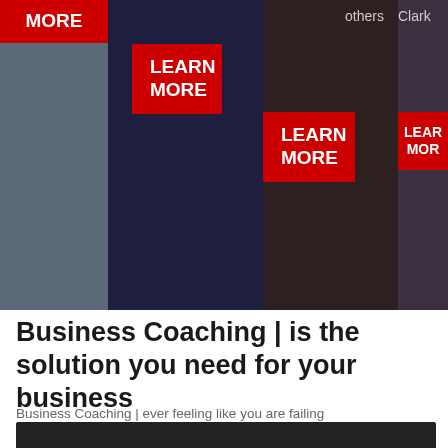[Figure (screenshot): Website banner with 4 image panels, each containing red 'LEARN MORE' buttons. Text 'others' visible in third panel, 'Clark' partially visible in fourth panel.]
Business Coaching | is the solution you need for your business
Business Coaching | ever feeling like you are failing
[Figure (photo): Dark/black image bar at the bottom of the page]